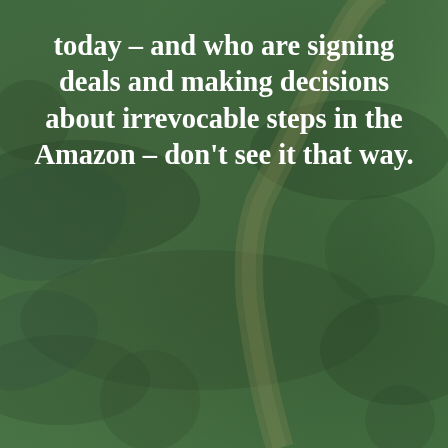[Figure (photo): Aerial view of the Amazon rainforest with a winding river/road visible, overlaid with a dark green color wash]
today – and who are signing deals and making decisions about irrevocable steps in the Amazon – don't see it that way.